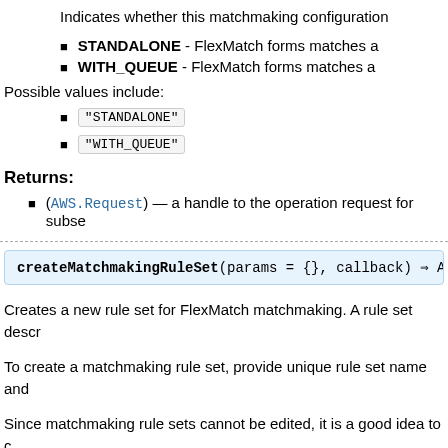Indicates whether this matchmaking configuration
STANDALONE - FlexMatch forms matches a
WITH_QUEUE - FlexMatch forms matches a
Possible values include:
"STANDALONE"
"WITH_QUEUE"
Returns:
(AWS.Request) — a handle to the operation request for subse
createMatchmakingRuleSet(params = {}, callback) ⇒ A
Creates a new rule set for FlexMatch matchmaking. A rule set descr
To create a matchmaking rule set, provide unique rule set name and
Since matchmaking rule sets cannot be edited, it is a good idea to c